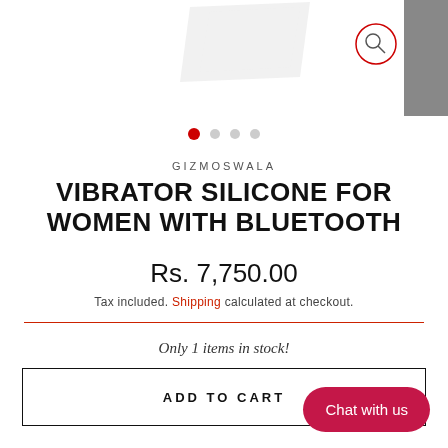[Figure (screenshot): Top navigation bar with partial product image, search circle icon, and gray rectangle on right]
[Figure (infographic): Four carousel dot indicators, first dot active in red]
GIZMOSWALA
VIBRATOR SILICONE FOR WOMEN WITH BLUETOOTH
Rs. 7,750.00
Tax included. Shipping calculated at checkout.
Only 1 items in stock!
ADD TO CART
Chat with us